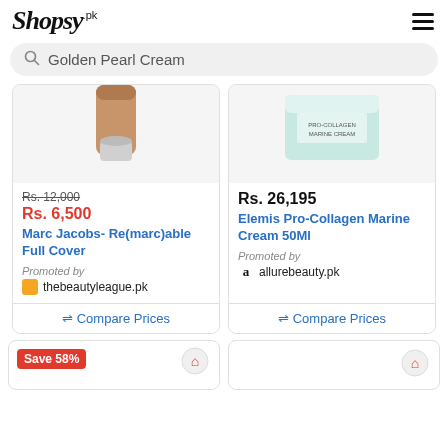Shopsy.pk
Golden Pearl Cream
[Figure (photo): Product image of Marc Jacobs foundation bottle, beige/tan color, partial view cropped at top]
Rs. 12,000
Rs. 6,500
Marc Jacobs- Re(marc)able Full Cover
Promoted by
thebeautyleague.pk
Compare Prices
[Figure (photo): Product image of Elemis Pro-Collagen Marine Cream jar, light teal/white color, partial view cropped at top]
Rs. 26,195
Elemis Pro-Collagen Marine Cream 50Ml
Promoted by
allurebeauty.pk
Compare Prices
Save 58%